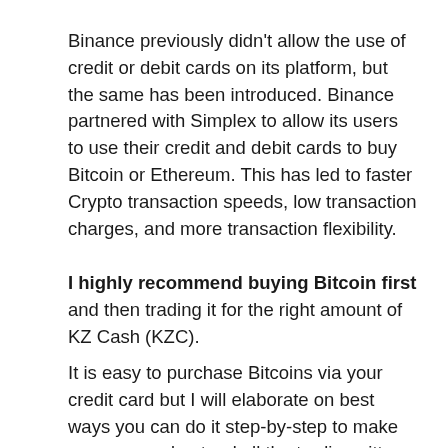Binance previously didn't allow the use of credit or debit cards on its platform, but the same has been introduced. Binance partnered with Simplex to allow its users to use their credit and debit cards to buy Bitcoin or Ethereum. This has led to faster Crypto transaction speeds, low transaction charges, and more transaction flexibility.
I highly recommend buying Bitcoin first and then trading it for the right amount of KZ Cash (KZC).
It is easy to purchase Bitcoins via your credit card but I will elaborate on best ways you can do it step-by-step to make sure you understand all the trading nitty-gritty.